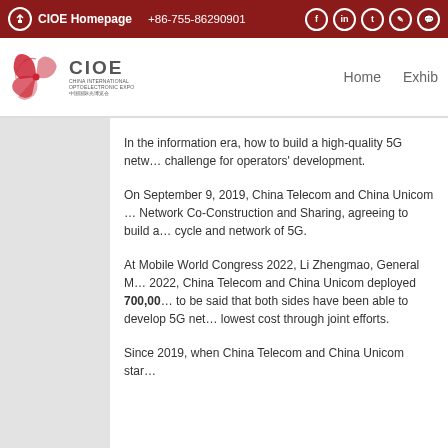CIOE Homepage  +86-755-86290901
[Figure (logo): CIOE China International Optoelectronic Expo logo with spiral emblem]
In the information era, how to build a high-quality 5G network is a challenge for operators' development.
On September 9, 2019, China Telecom and China Unicom signed the 5G Network Co-Construction and Sharing, agreeing to build a shared life cycle and network of 5G.
At Mobile World Congress 2022, Li Zhengmao, General M... 2022, China Telecom and China Unicom deployed 700,00... to be said that both sides have been able to develop 5G net... lowest cost through joint efforts.
Since 2019, when China Telecom and China Unicom star...